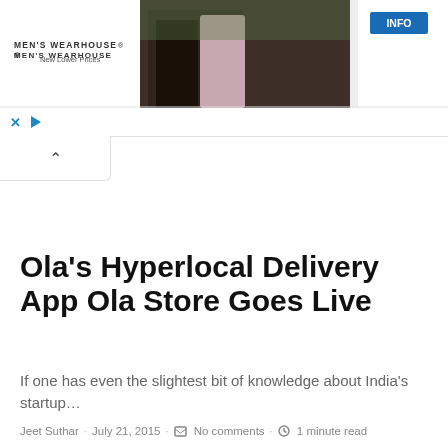[Figure (photo): Men's Wearhouse advertisement banner showing a couple dressed formally and a boy in a suit, with an INFO button on the right]
Ola's Hyperlocal Delivery App Ola Store Goes Live
If one has even the slightest bit of knowledge about India's startup...
Jeet Suthar · July 21, 2015 · No comments · 1 minute read